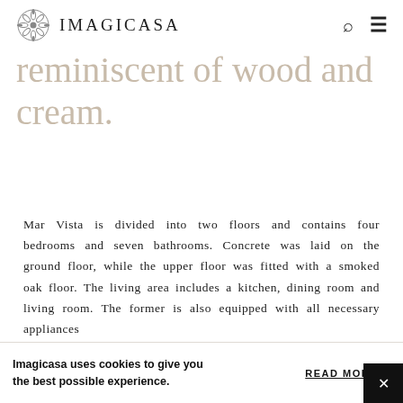IMAGICASA
reminiscent of wood and cream.
Mar Vista is divided into two floors and contains four bedrooms and seven bathrooms. Concrete was laid on the ground floor, while the upper floor was fitted with a smoked oak floor. The living area includes a kitchen, dining room and living room. The former is also equipped with all necessary appliances
Imagicasa uses cookies to give you the best possible experience. READ MORE